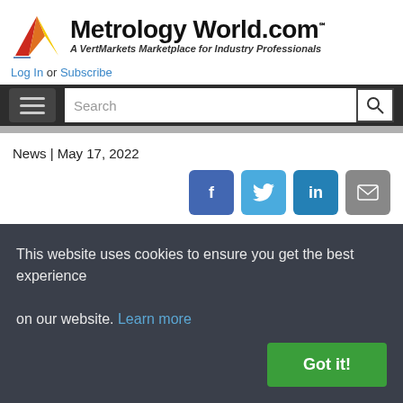[Figure (logo): MetrologyWorld.com logo with red/orange/yellow V-shape triangle icon and bold text 'Metrology World.com' with SM mark, tagline 'A VertMarkets Marketplace for Industry Professionals']
Log In or Subscribe
[Figure (screenshot): Dark navigation bar with hamburger menu icon on left and search input with search button on right]
News | May 17, 2022
[Figure (infographic): Social sharing buttons: Facebook (blue), Twitter (light blue), LinkedIn (blue), Email (gray)]
LMI Technologies Launches
This website uses cookies to ensure you get the best experience on our website. Learn more
Got it!